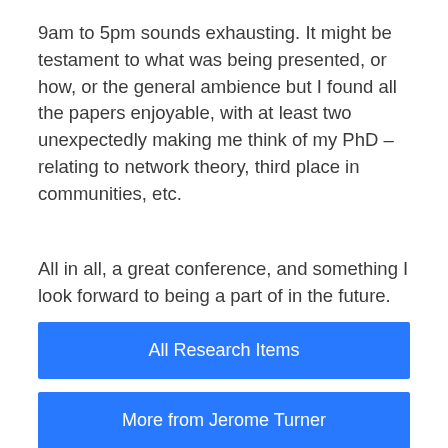9am to 5pm sounds exhausting. It might be testament to what was being presented, or how, or the general ambience but I found all the papers enjoyable, with at least two unexpectedly making me think of my PhD – relating to network theory, third place in communities, etc.
All in all, a great conference, and something I look forward to being a part of in the future.
All Research Items
More from Jerome Turner